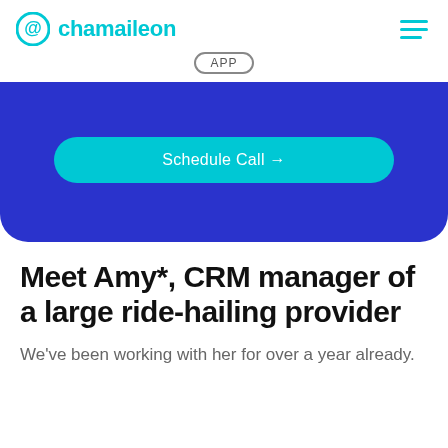@ chamaileon
[Figure (other): APP badge/label in a circle outline]
[Figure (screenshot): Dark blue banner with a teal 'Schedule Call →' button]
Meet Amy*, CRM manager of a large ride-hailing provider
We've been working with her for over a year already.